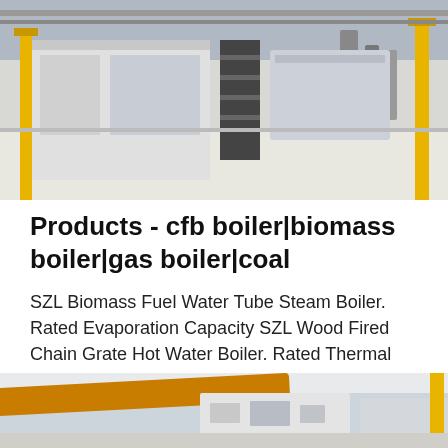[Figure (photo): Industrial boiler equipment in a factory setting with yellow safety poles/rails and white machinery on a light-colored floor]
Products - cfb boiler|biomass boiler|gas boiler|coal
SZL Biomass Fuel Water Tube Steam Boiler. Rated Evaporation Capacity SZL Wood Fired Chain Grate Hot Water Boiler. Rated Thermal Power： 1.4MW ~ 21MW. Working Pressure： 1.6 Mpa. See Details Online Inquiry....
Get Price
[Figure (photo): Close-up view of industrial boiler piping and equipment with yellow/orange metal pipes visible]